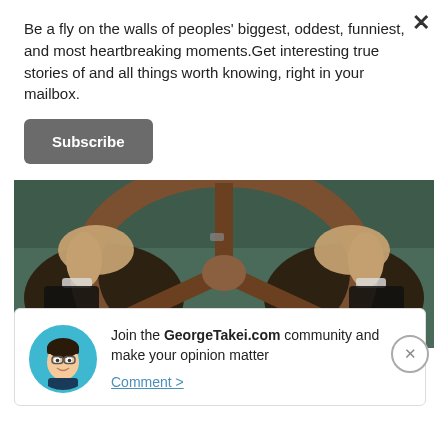Be a fly on the walls of peoples' biggest, oddest, funniest, and most heartbreaking moments.Get interesting true stories of and all things worth knowing, right in your mailbox.
Subscribe
[Figure (photo): Person gripping a wooden steering wheel, wearing a dark suit with white cufflinks visible]
Giphy
Our Community
[Figure (illustration): Cartoon avatar of a man with dark hair and glasses in a circular teal frame]
Join the GeorgeTakei.com community and make your opinion matter
Comment >